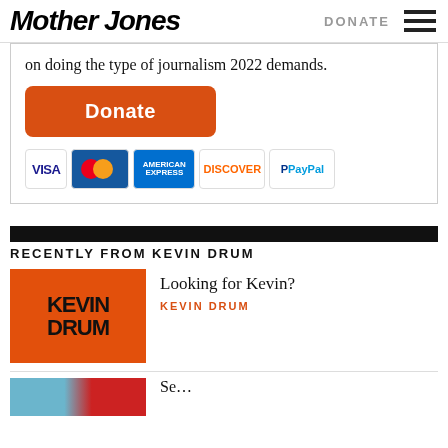Mother Jones | DONATE
on doing the type of journalism 2022 demands.
[Figure (other): Orange Donate button]
[Figure (other): Payment method logos: VISA, MasterCard, American Express, Discover, PayPal]
RECENTLY FROM KEVIN DRUM
[Figure (other): Kevin Drum orange logo image with 'KEVIN DRUM' text]
Looking for Kevin?
KEVIN DRUM
Se…